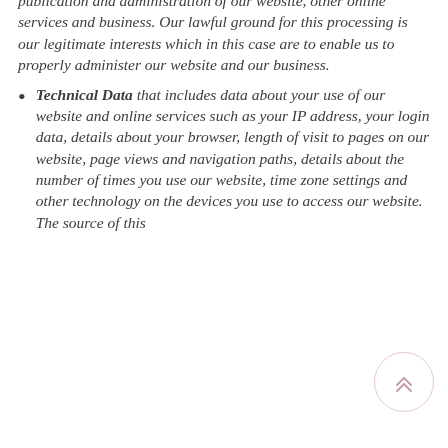publication and administration of our website, other online services and business. Our lawful ground for this processing is our legitimate interests which in this case are to enable us to properly administer our website and our business.
Technical Data that includes data about your use of our website and online services such as your IP address, your login data, details about your browser, length of visit to pages on our website, page views and navigation paths, details about the number of times you use our website, time zone settings and other technology on the devices you use to access our website. The source of this